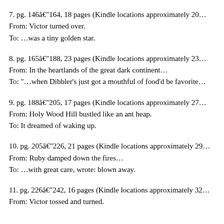7. pg. 146â€“164, 18 pages (Kindle locations approximately 20…
From: Victor turned over.
To: …was a tiny golden star.
8. pg. 165â€“188, 23 pages (Kindle locations approximately 23…
From: In the heartlands of the great dark continent…
To: “…when Dibbler’s just got a mouthful of food’d be favorite…
9. pg. 188â€“205, 17 pages (Kindle locations approximately 27…
From: Holy Wood Hill bustled like an ant heap.
To: It dreamed of waking up.
10. pg. 205â€“226, 21 pages (Kindle locations approximately 29…
From: Ruby damped down the fires…
To: …with great care, wrote: blown away.
11. pg. 226â€“242, 16 pages (Kindle locations approximately 32…
From: Victor tossed and turned.